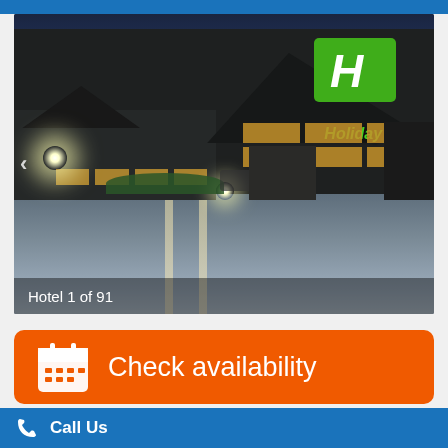[Figure (photo): Exterior photo of a Holiday Inn hotel building at dusk/night. Dark timber-clad building with green Holiday Inn logo sign on the upper right. Interior lights glow warm yellow through windows. Parking area in foreground with road markings. Bicycles parked near building. Light burst from exterior lamp posts.]
Hotel 1 of 91
Check availability
Call Us